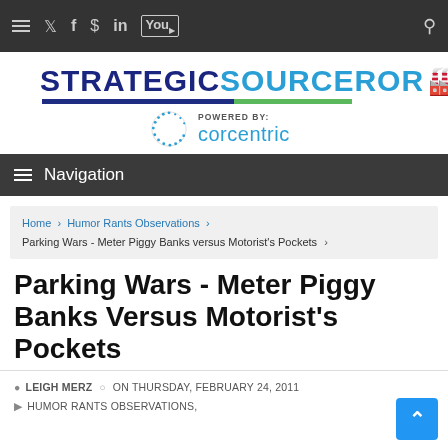≡ Twitter Facebook $ LinkedIn YouTube Search
[Figure (logo): StrategicSourceror logo with wizard hat, powered by Corcentric]
≡ Navigation
Home › Humor Rants Observations › Parking Wars - Meter Piggy Banks versus Motorist's Pockets ›
Parking Wars - Meter Piggy Banks Versus Motorist's Pockets
LEIGH MERZ  ON THURSDAY, FEBRUARY 24, 2011  HUMOR RANTS OBSERVATIONS,